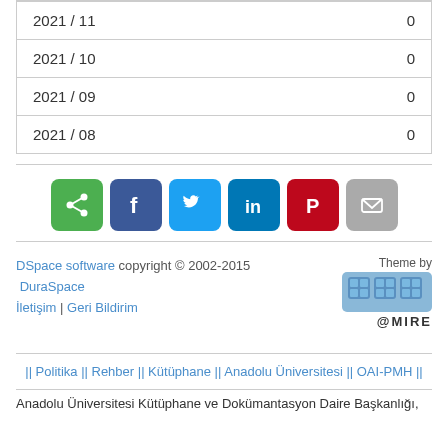| 2021 / 11 | 0 |
| 2021 / 10 | 0 |
| 2021 / 09 | 0 |
| 2021 / 08 | 0 |
[Figure (infographic): Social share buttons: share (green), Facebook (dark blue), Twitter (light blue), LinkedIn (blue), Pinterest (red), Email (grey)]
DSpace software copyright © 2002-2015  DuraSpace
İletişim | Geri Bildirim
[Figure (logo): @MIRE logo with blue blocks]
Theme by
|| Politika || Rehber || Kütüphane || Anadolu Üniversitesi || OAI-PMH ||
Anadolu Üniversitesi Kütüphane ve Dokümantasyon Daire Başkanlığı,